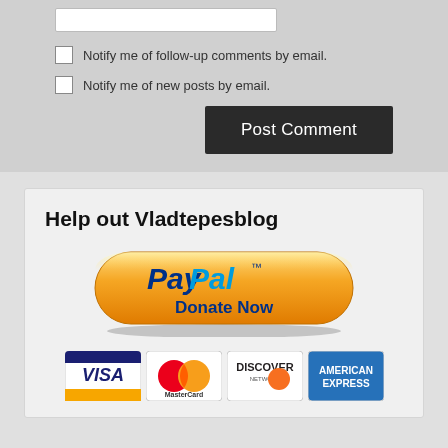[Figure (screenshot): Form input bar (white rectangle)]
Notify me of follow-up comments by email.
Notify me of new posts by email.
Post Comment
Help out Vladtepesblog
[Figure (illustration): PayPal Donate Now button with orange gradient pill shape and PayPal logo]
[Figure (illustration): Payment card logos: VISA, MasterCard, Discover Network, American Express]